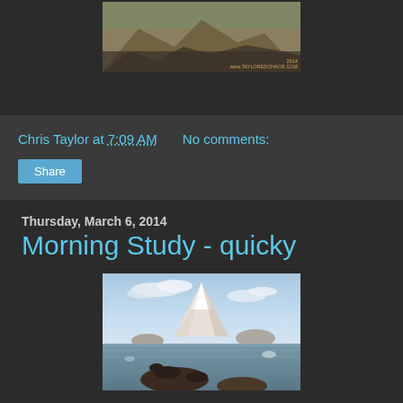[Figure (photo): Top partial image showing arid mountainous landscape with watermark 'www.TAYLOREDCHAOS.COM 2014']
Chris Taylor at 7:09 AM    No comments:
[Figure (other): Share button]
Thursday, March 6, 2014
Morning Study - quicky
[Figure (photo): Digital painting of a snowy mountain (volcano) with sea lions or seals in water in the foreground, pastel sky with clouds]